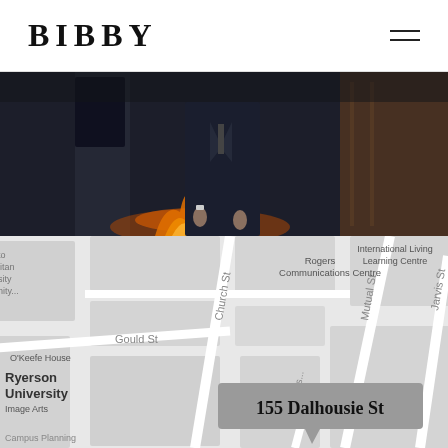BIBBY
[Figure (photo): A man in a dark navy suit standing in front of a modern interior with a fireplace with flames visible, partial torso and lower body visible]
[Figure (map): Street map showing area around 155 Dalhousie St in Toronto near Ryerson University, showing Church St, Mutual St, Jarvis St, Gould St, Rogers Communications Centre, International Living Learning Centre, O'Keefe House, Ryerson University Image Arts, Campus Planning. A grey popup label reads '155 Dalhousie St'.]